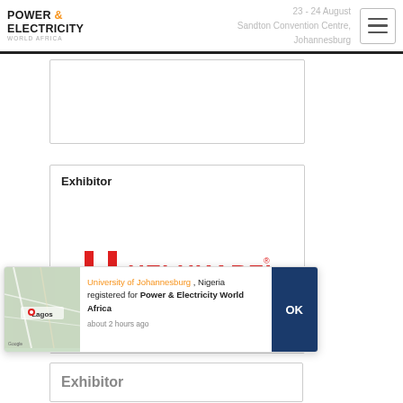POWER & ELECTRICITY WORLD Africa | 23 - 24 August | Sandton Convention Centre, Johannesburg
[Figure (other): Partially visible white card/box near top of page]
Exhibitor
[Figure (logo): HELUKABEL logo - red H-shaped bracket icon followed by red HELUKABEL text in bold uppercase]
[Figure (infographic): Notification popup overlay showing a map thumbnail of Lagos on the left, text reading: University of Johannesburg, Nigeria registered for Power & Electricity World Africa, about 2 hours ago. OK button on right.]
University of Johannesburg , Nigeria registered for Power & Electricity World Africa about 2 hours ago
Exhibitor